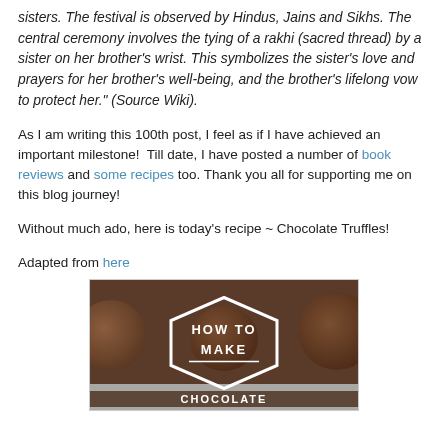sisters. The festival is observed by Hindus, Jains and Sikhs. The central ceremony involves the tying of a rakhi (sacred thread) by a sister on her brother's wrist. This symbolizes the sister's love and prayers for her brother's well-being, and the brother's lifelong vow to protect her." (Source Wiki).
As I am writing this 100th post, I feel as if I have achieved an important milestone!  Till date, I have posted a number of book reviews and some recipes too. Thank you all for supporting me on this blog journey!
Without much ado, here is today's recipe ~ Chocolate Truffles!
Adapted from here
[Figure (photo): A photo of chocolate truffles in paper cups with a white hexagonal overlay text reading 'HOW TO MAKE' and partially visible text at the bottom reading 'CHOCOLATE']